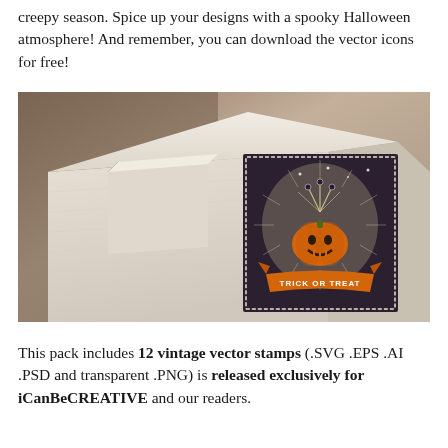creepy season. Spice up your designs with a spooky Halloween atmosphere! And remember, you can download the vector icons for free!
[Figure (photo): A photo of a white gift box with a Halloween 'Trick or Treat' vintage stamp/sticker featuring a pumpkin with sparkles inside an oval design on a dark background with an orange banner.]
This pack includes 12 vintage vector stamps (.SVG .EPS .AI .PSD and transparent .PNG) is released exclusively for iCanBeCREATIVE and our readers.